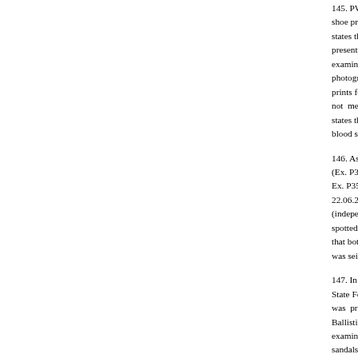145. PW-21 did not, in his cross-examination remember the shoe prints found at the incident (which he later says) states that there were three kinds of prints. He also present, and therefore barefoot prints were n examination, PW-21 mentioned that at his instru photographer) took scaled photographs of the b prints found at the place of the incident (which are not mentioned in the chief examination of PW-17; states that he had taken 8x12 scaled photos of the blood stains, which were Ex. P66 to Ex. P74.
146. As already elaborated earlier, Manoj's shoes (Ex. P31, Ex. P32) and sandals from Neha based Ex. P35) on 23.06.2011. Rahul's right shoe was s 22.06.2011 which is corroborated by the testimony (independent witness), who stated that Abhay T spotted the blood-stained shoe in his garden and r that both of them were witnesses to the seizure me was seized (Ex. P21) pursuant to disclosure made b
147. In furtherance of Ex. P115 letter dated 13.07. State Forensic Laboratory, Examination Report of sh was prepared. This report stated that, the exhib Ballistics Branch on 02.08.2011 in sealed c examination, sample prints of soles of shoes of sandals of Ex. H3 were made (photographs 10, shoeprints found were merely mentioned together photograph (#10, 11, etc.) is the sample of which sh
148. This court is of the opinion that much weight footprint evidence in this case. The report explicit incomplete and unclear, and that specific and clea